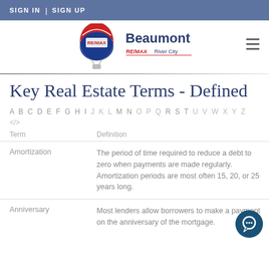SIGN IN | SIGN UP
[Figure (logo): RE/MAX Beaumont RE/MAX River City logo with hot air balloon]
Key Real Estate Terms - Defined
A B C D E F G H I J K L M N O P Q R S T U V W X Y Z </>
| Term | Definition |
| --- | --- |
| Amortization | The period of time required to reduce a debt to zero when payments are made regularly. Amortization periods are most often 15, 20, or 25 years long. |
| Anniversary | Most lenders allow borrowers to make a payment on the anniversary of the mortgage. |